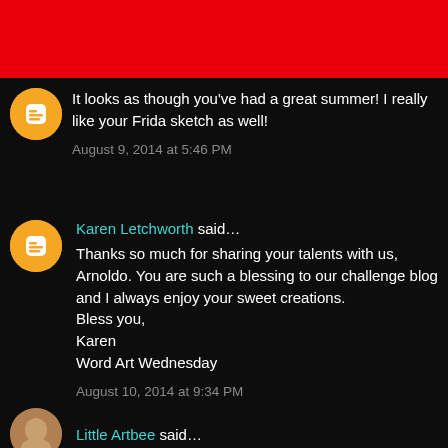[Figure (other): Red banner bar at top of page]
It looks as though you've had a great summer! I really like your Frida sketch as well!
August 9, 2014 at 5:46 PM
Karen Letchworth said...
Thanks so much for sharing your talents with us, Arnoldo. You are such a blessing to our challenge blog and I always enjoy your sweet creations.
Bless you,
Karen
Word Art Wednesday
August 10, 2014 at 9:34 PM
Little Artbee said...